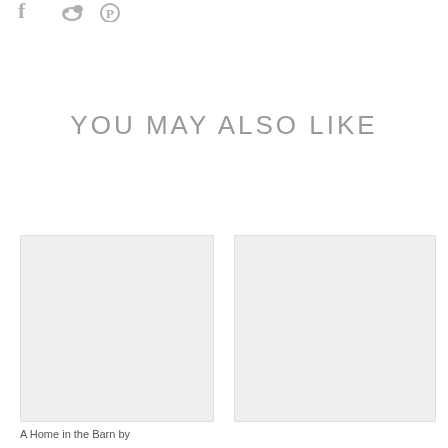[Figure (other): Social media icons (partial, cropped at top): Facebook, Twitter/bird, Pinterest icons in gray]
YOU MAY ALSO LIKE
[Figure (photo): Placeholder/blank image box on the left, light gray background]
[Figure (photo): Placeholder/blank image box on the right, light gray background]
A Home in the Barn by